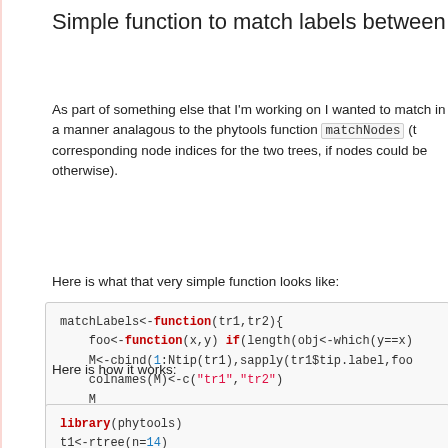Simple function to match labels between
As part of something else that I'm working on I wanted to match in a manner analagous to the phytools function matchNodes (the corresponding node indices for the two trees, if nodes could be otherwise).
Here is what that very simple function looks like:
[Figure (screenshot): R code block showing matchLabels function definition]
Here is how it works:
[Figure (screenshot): R code block showing library(phytools), t1<-rtree(n=14), t2<-rtree(n=10), par(mfrow=c(1,2)), plotTree(t1,offset=0.6)]